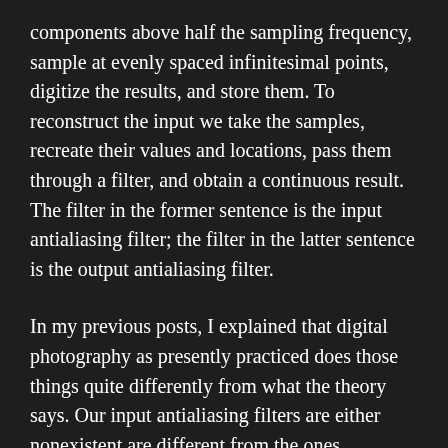components above half the sampling frequency, sample at evenly spaced infinitesimal points, digitize the results, and store them. To reconstruct the input we take the samples, recreate their values and locations, pass them through a filter, and obtain a continuous result. The filter in the former sentence is the input antialiasing filter; the filter in the latter sentence is the output antialiasing filter.
In my previous posts, I explained that digital photography as presently practiced does those things quite differently from what the theory says. Our input antialiasing filters are either nonexistent are different from the ones recommended by sampling theory. Or sensors have light-sensitive areas that approach the square of the pitch of the sampling array. And, worst of all, we usually sample different parts of the input